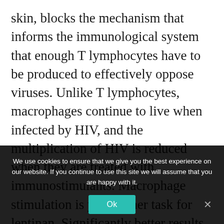skin, blocks the mechanism that informs the immunological system that enough T lymphocytes have to be produced to effectively oppose viruses. Unlike T lymphocytes, macrophages continue to live when infected by HIV, and the multiplication of HIV is reduced when they are treated with immunostimulants. Macrophage stimulation is yet another task for lentinan. Significantly better results are achieved by combining lentinan with...
We use cookies to ensure that we give you the best experience on our website. If you continue to use this site we will assume that you are happy with it.